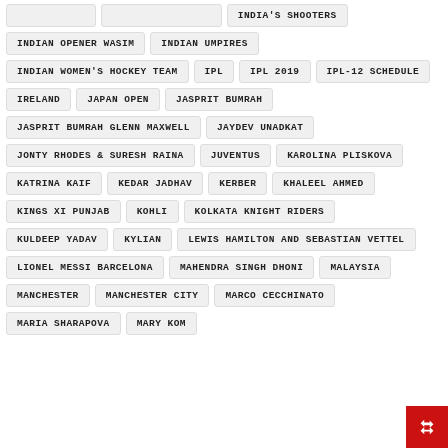INDIA'S SHOOTERS
INDIAN OPENER WASIM
INDIAN UMPIRES
INDIAN WOMEN'S HOCKEY TEAM
IPL
IPL 2019
IPL-12 SCHEDULE
IRELAND
JAPAN OPEN
JASPRIT BUMRAH
JASPRIT BUMRAH GLENN MAXWELL
JAYDEV UNADKAT
JONTY RHODES & SURESH RAINA
JUVENTUS
KAROLINA PLISKOVA
KATRINA KAIF
KEDAR JADHAV
KERBER
KHALEEL AHMED
KINGS XI PUNJAB
KOHLI
KOLKATA KNIGHT RIDERS
KULDEEP YADAV
KYLIAN
LEWIS HAMILTON AND SEBASTIAN VETTEL
LIONEL MESSI BARCELONA
MAHENDRA SINGH DHONI
MALAYSIA
MANCHESTER
MANCHESTER CITY
MARCO CECCHINATO
MARIA SHARAPOVA
MARY KOM